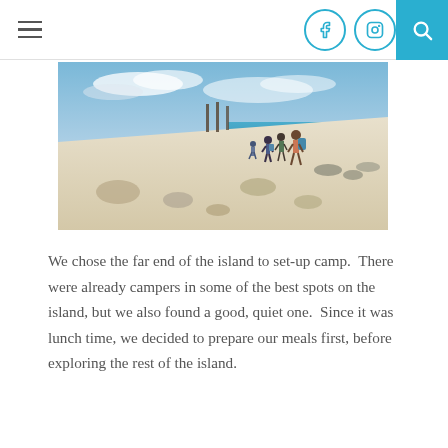Navigation bar with hamburger menu, Facebook icon, Instagram icon, and search button
[Figure (photo): People walking along a white sandy beach shoreline with rocks and turquoise water, under a partly cloudy sky. The beach has a steep sandy slope with wooden stakes, and several hikers with backpacks are visible.]
We chose the far end of the island to set-up camp.  There were already campers in some of the best spots on the island, but we also found a good, quiet one.  Since it was lunch time, we decided to prepare our meals first, before exploring the rest of the island.